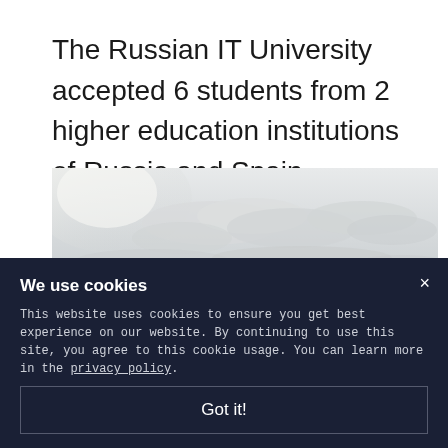The Russian IT University accepted 6 students from 2 higher education institutions of Russia and Spain.
[Figure (photo): Outdoor landscape photograph showing a hazy sky with clouds and distant hills or mountains on the horizon, muted grey-blue tones.]
We use cookies
This website uses cookies to ensure you get best experience on our website. By continuing to use this site, you agree to this cookie usage. You can learn more in the privacy policy.
Got it!